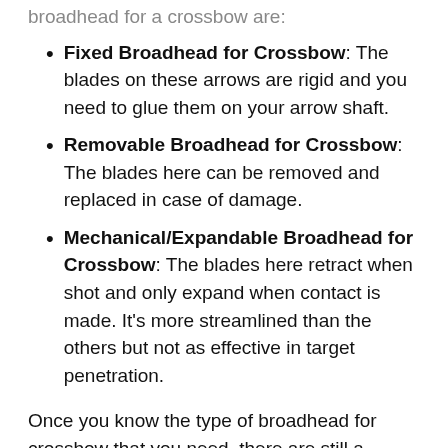broadhead for a crossbow are:
Fixed Broadhead for Crossbow: The blades on these arrows are rigid and you need to glue them on your arrow shaft.
Removable Broadhead for Crossbow: The blades here can be removed and replaced in case of damage.
Mechanical/Expandable Broadhead for Crossbow: The blades here retract when shot and only expand when contact is made. It's more streamlined than the others but not as effective in target penetration.
Once you know the type of broadhead for crossbow that you need, there are still a number of different options to choose from. The choices can be overwhelming. To guide you in the process, we've personally vetted